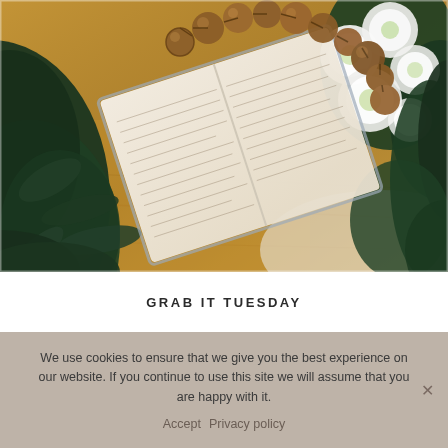[Figure (photo): Overhead flat-lay photo of an open book with wooden bead necklace/rosary draped across the pages, surrounded by dark green leafy plants on the left and white flowers (geraniums) on the right, on a wooden surface.]
GRAB IT TUESDAY
We use cookies to ensure that we give you the best experience on our website. If you continue to use this site we will assume that you are happy with it.
Accept   Privacy policy